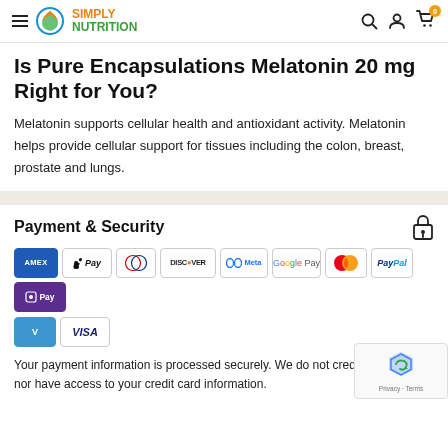Simply Nutrition — header with logo, search, account, cart (0)
Is Pure Encapsulations Melatonin 20 mg Right for You?
Melatonin supports cellular health and antioxidant activity. Melatonin helps provide cellular support for tissues including the colon, breast, prostate and lungs.
Payment & Security
[Figure (infographic): Payment method icons: American Express, Apple Pay, Diners Club, Discover, Meta Pay, Google Pay, Mastercard, PayPal, Shop Pay, Venmo, Visa]
Your payment information is processed securely. We do not credit card details nor have access to your credit card information.